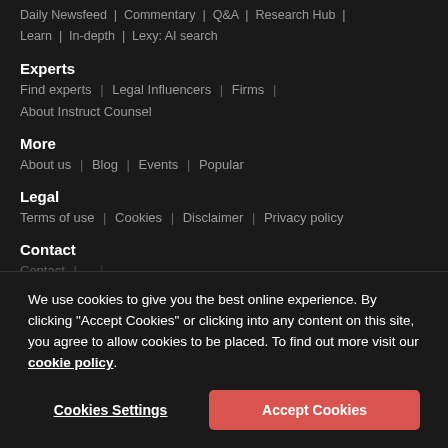Daily Newsfeed | Commentary | Q&A | Research Hub | Learn | In-depth | Lexy: AI search
Experts
Find experts | Legal Influencers | Firms | About Instruct Counsel
More
About us | Blog | Events | Popular
Legal
Terms of use | Cookies | Disclaimer | Privacy policy
Contact
Contact | ...
We use cookies to give you the best online experience. By clicking "Accept Cookies" or clicking into any content on this site, you agree to allow cookies to be placed. To find out more visit our cookie policy.
Cookies Settings | Accept Cookies